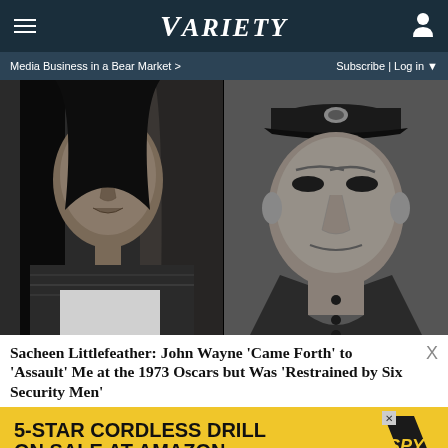VARIETY
Media Business in a Bear Market > | Subscribe | Log in
[Figure (photo): Black and white composite photo: on the left, Sacheen Littlefeather, a Native American woman with long dark hair, wearing traditional attire, holding papers; on the right, John Wayne wearing a military or naval cap and dark shirt, looking distressed.]
Sacheen Littlefeather: John Wayne 'Came Forth' to 'Assault' Me at the 1973 Oscars but Was 'Restrained by Six Security Men'
[Figure (infographic): Advertisement banner: 5-STAR CORDLESS DRILL ON SALE AT AMAZON, with SPY logo on yellow background.]